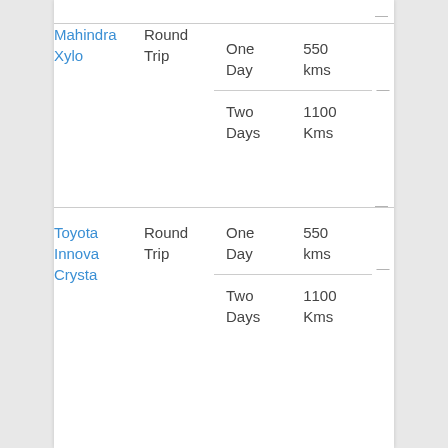| Car | Trip Type | Duration | Distance |
| --- | --- | --- | --- |
| Mahindra Xylo | Round Trip | One Day | 550 kms |
|  |  | Two Days | 1100 Kms |
| Toyota Innova Crysta | Round Trip | One Day | 550 kms |
|  |  | Two Days | 1100 Kms |